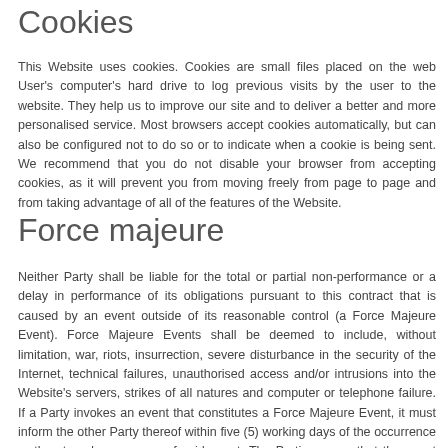Cookies
This Website uses cookies. Cookies are small files placed on the web User's computer's hard drive to log previous visits by the user to the website. They help us to improve our site and to deliver a better and more personalised service. Most browsers accept cookies automatically, but can also be configured not to do so or to indicate when a cookie is being sent. We recommend that you do not disable your browser from accepting cookies, as it will prevent you from moving freely from page to page and from taking advantage of all of the features of the Website.
Force majeure
Neither Party shall be liable for the total or partial non-performance or a delay in performance of its obligations pursuant to this contract that is caused by an event outside of its reasonable control (a Force Majeure Event). Force Majeure Events shall be deemed to include, without limitation, war, riots, insurrection, severe disturbance in the security of the Internet, technical failures, unauthorised access and/or intrusions into the Website's servers, strikes of all natures and computer or telephone failure. If a Party invokes an event that constitutes a Force Majeure Event, it must inform the other Party thereof within five (5) working days of the occurrence or threatened occurrence of said event. The Parties agree that the event comply with both their intentions and